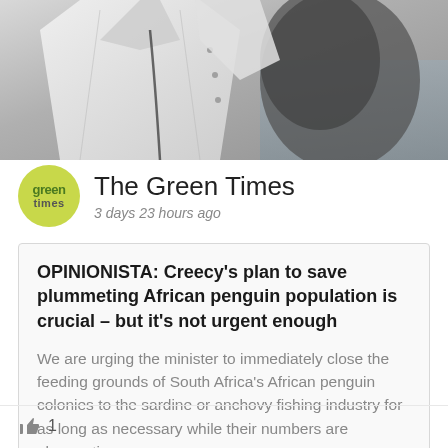[Figure (photo): Black and white photo showing a person in a white shirt, cropped at top of page, with water visible in background]
The Green Times
3 days 23 hours ago
OPINIONISTA: Creecy's plan to save plummeting African penguin population is crucial – but it's not urgent enough
We are urging the minister to immediately close the feeding grounds of South Africa's African penguin colonies to the sardine or anchovy fishing industry for as long as necessary while their numbers are plummeting.
1